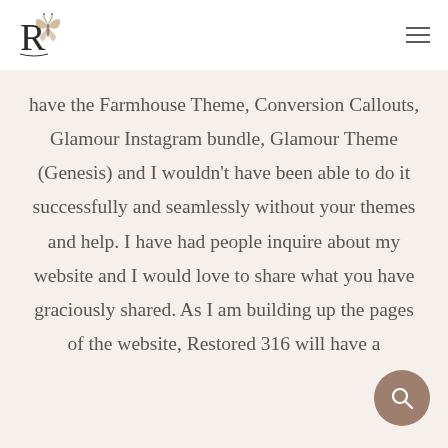R [logo with butterfly] [hamburger menu]
have the Farmhouse Theme, Conversion Callouts, Glamour Instagram bundle, Glamour Theme (Genesis) and I wouldn’t have been able to do it successfully and seamlessly without your themes and help. I have had people inquire about my website and I would love to share what you have graciously shared. As I am building up the pages of the website, Restored 316 will have a